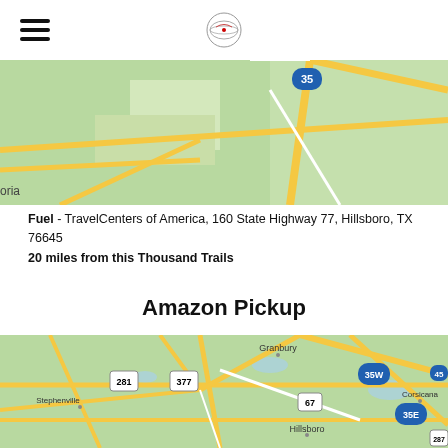[Figure (map): Google Maps partial view showing highway 35 near Hillsboro area with road intersections on green terrain background]
Fuel - TravelCenters of America, 160 State Highway 77, Hillsboro, TX 76645
20 miles from this Thousand Trails
Amazon Pickup
[Figure (map): Google Maps wider view showing Granbury, Stephenville, Hillsboro, Corsicana area with highways 281, 377, 67, 47, 35W, 35E, 45 labeled on green terrain background]